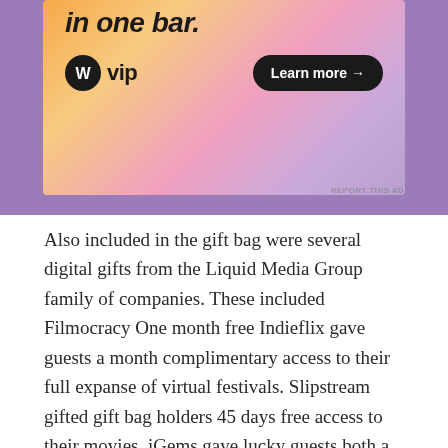[Figure (screenshot): WordPress VIP advertisement banner with gradient background (orange to pink to purple), showing cropped italic bold headline text at top, WordPress VIP logo on left, and 'Learn more →' button on right.]
REPORT THIS AD
Also included in the gift bag were several digital gifts from the Liquid Media Group family of companies. These included Filmocracy One month free Indieflix gave guests a month complimentary access to their full expanse of virtual festivals. Slipstream gifted gift bag holders 45 days free access to their movies. iGems gave lucky guests both a discount on their renowned TV Film Festival mastery course as well as one month complimentary platinum membership.
Ultimately, the lively party was a splendid and sensational hit. Liquid Media Group carefully balanced the perfect amount of glitz, dazzle,